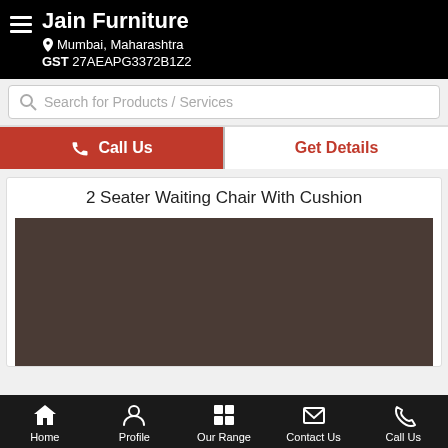Jain Furniture | Mumbai, Maharashtra | GST 27AEAPG3372B1Z2
Search for Products / Services
Call Us | Get Details
2 Seater Waiting Chair With Cushion
[Figure (photo): Product image placeholder - dark brownish-grey rectangle representing a 2 Seater Waiting Chair With Cushion]
Home | Profile | Our Range | Contact Us | Call Us